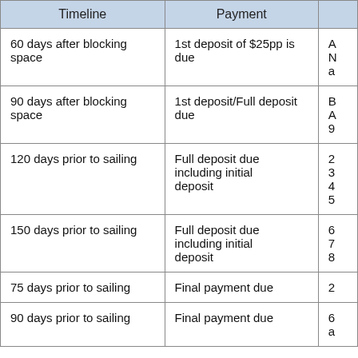| Timeline | Payment |  |
| --- | --- | --- |
| 60 days after blocking space | 1st deposit of $25pp is due | A
N
a |
| 90 days after blocking space | 1st deposit/Full deposit due | B
A
9 |
| 120 days prior to sailing | Full deposit due including initial
deposit | 2
3
4
5 |
| 150 days prior to sailing | Full deposit due including initial
deposit | 6
7
8 |
| 75 days prior to sailing | Final payment due | 2 |
| 90 days prior to sailing | Final payment due | 6
a |